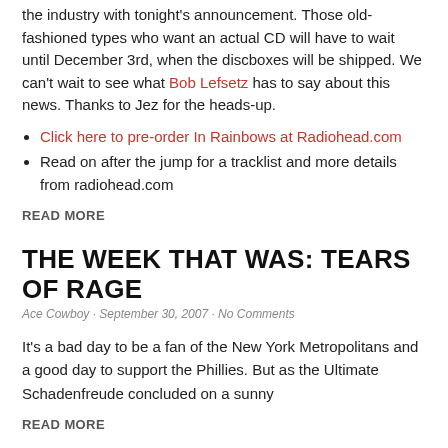the industry with tonight's announcement. Those old-fashioned types who want an actual CD will have to wait until December 3rd, when the discboxes will be shipped. We can't wait to see what Bob Lefsetz has to say about this news. Thanks to Jez for the heads-up.
Click here to pre-order In Rainbows at Radiohead.com
Read on after the jump for a tracklist and more details from radiohead.com
READ MORE
THE WEEK THAT WAS: TEARS OF RAGE
Ace Cowboy · September 30, 2007 · No Comments
It's a bad day to be a fan of the New York Metropolitans and a good day to support the Phillies. But as the Ultimate Schadenfreude concluded on a sunny
READ MORE